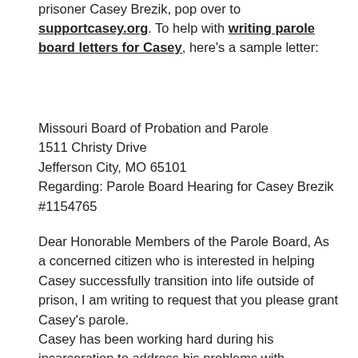prisoner Casey Brezik, pop over to supportcasey.org. To help with writing parole board letters for Casey, here's a sample letter:
Missouri Board of Probation and Parole
1511 Christy Drive
Jefferson City, MO 65101
Regarding: Parole Board Hearing for Casey Brezik #1154765
Dear Honorable Members of the Parole Board, As a concerned citizen who is interested in helping Casey successfully transition into life outside of prison, I am writing to request that you please grant Casey's parole.
Casey has been working hard during his incarceration to address his problems with